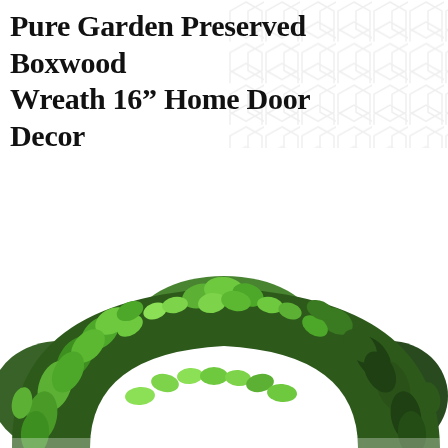Pure Garden Preserved Boxwood Wreath 16" Home Door Decor Greenery Wedding Event
[Figure (photo): Close-up photo of a round preserved boxwood wreath made of dense green leaves, showing the top arc of the wreath against a white background with a subtle hexagonal pattern in the upper right]